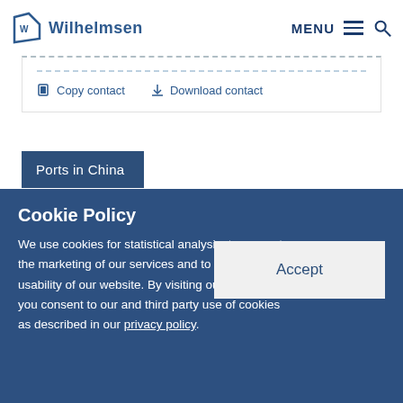Wilhelmsen — MENU
Copy contact   Download contact
Ports in China
Cookie Policy
We use cookies for statistical analysis, to support the marketing of our services and to improve the usability of our website. By visiting our website, you consent to our and third party use of cookies as described in our privacy policy.
Accept